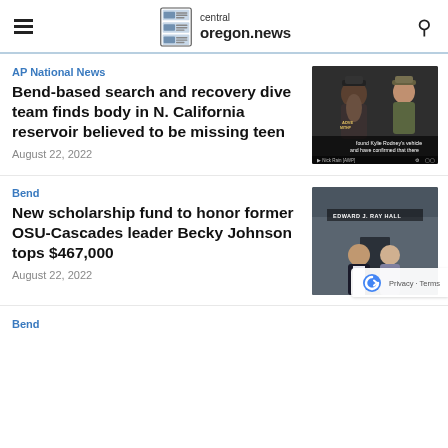central oregon.news
AP National News
Bend-based search and recovery dive team finds body in N. California reservoir believed to be missing teen
August 22, 2022
[Figure (photo): Video thumbnail showing two men, one with a long beard, with text overlay reading 'found Kylie Rodney's vehicle and have confirmed that there']
Bend
New scholarship fund to honor former OSU-Cascades leader Becky Johnson tops $467,000
August 22, 2022
[Figure (photo): Photo of two women smiling in front of Edward J. Ray Hall]
Bend